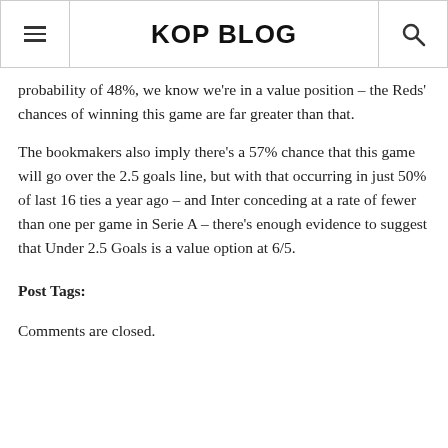KOP BLOG
probability of 48%, we know we're in a value position – the Reds' chances of winning this game are far greater than that.
The bookmakers also imply there's a 57% chance that this game will go over the 2.5 goals line, but with that occurring in just 50% of last 16 ties a year ago – and Inter conceding at a rate of fewer than one per game in Serie A – there's enough evidence to suggest that Under 2.5 Goals is a value option at 6/5.
Post Tags:
Comments are closed.